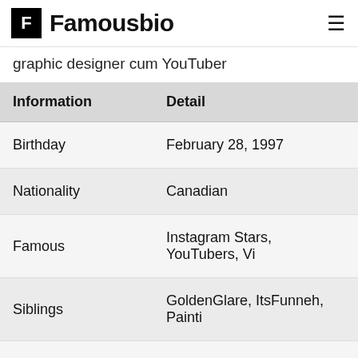Famousbio
graphic designer cum YouTuber
| Information | Detail |
| --- | --- |
| Birthday | February 28, 1997 |
| Nationality | Canadian |
| Famous | Instagram Stars, YouTubers, Vi |
| Siblings | GoldenGlare, ItsFunneh, Painti |
| Known as | Wenny |
| Gender | Female |